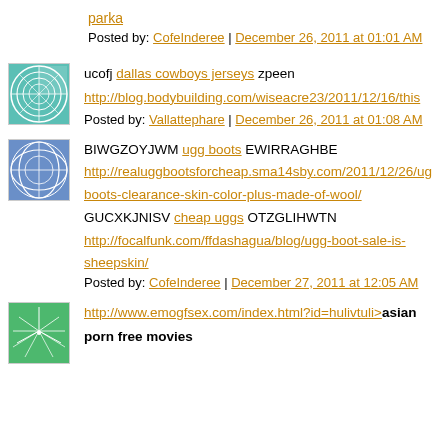parka
Posted by: CofeInderee | December 26, 2011 at 01:01 AM
ucofj dallas cowboys jerseys zpeen
http://blog.bodybuilding.com/wiseacre23/2011/12/16/this
Posted by: Vallattephare | December 26, 2011 at 01:08 AM
BIWGZOYJWM ugg boots EWIRRAGHBE
http://realuggbootsforcheap.sma14sby.com/2011/12/26/ug boots-clearance-skin-color-plus-made-of-wool/
GUCXKJNISV cheap uggs OTZGLIHWTN
http://focalfunk.com/ffdashagua/blog/ugg-boot-sale-is-sheepskin/
Posted by: CofeInderee | December 27, 2011 at 12:05 AM
http://www.emogfsex.com/index.html?id=hulivtuli>asian porn free movies